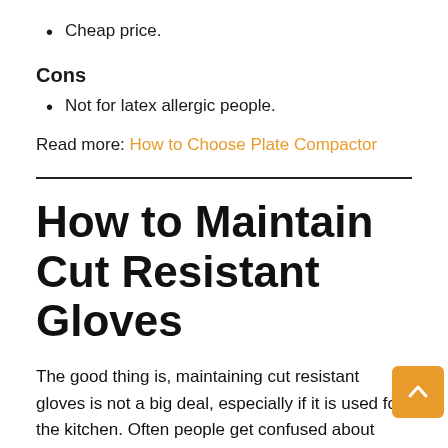Cheap price.
Cons
Not for latex allergic people.
Read more: How to Choose Plate Compactor
How to Maintain Cut Resistant Gloves
The good thing is, maintaining cut resistant gloves is not a big deal, especially if it is used for the kitchen. Often people get confused about maintaining kitchen gloves. At